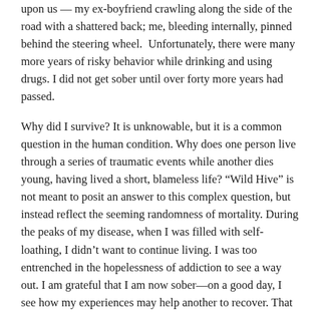upon us — my ex-boyfriend crawling along the side of the road with a shattered back; me, bleeding internally, pinned behind the steering wheel.  Unfortunately, there were many more years of risky behavior while drinking and using drugs. I did not get sober until over forty more years had passed.
Why did I survive? It is unknowable, but it is a common question in the human condition. Why does one person live through a series of traumatic events while another dies young, having lived a short, blameless life? “Wild Hive” is not meant to posit an answer to this complex question, but instead reflect the seeming randomness of mortality. During the peaks of my disease, when I was filled with self-loathing, I didn’t want to continue living. I was too entrenched in the hopelessness of addiction to see a way out. I am grateful that I am now sober—on a good day, I see how my experiences may help another to recover. That is the meaning that I attach to my own survival; that is the way I make sense of this question.